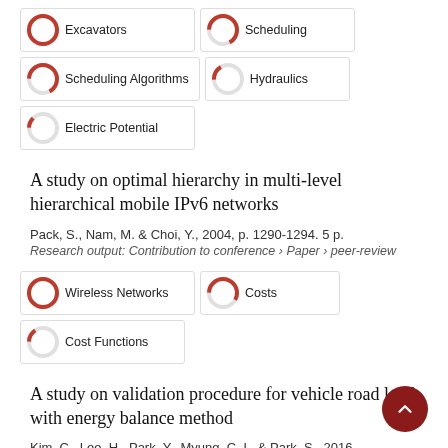[Figure (infographic): Keyword badges with donut-style percentage icons for: Excavators (100%), Scheduling (67%), Scheduling Algorithms (67%), Hydraulics (17%), Electric Potential (12%)]
A study on optimal hierarchy in multi-level hierarchical mobile IPv6 networks
Pack, S., Nam, M. & Choi, Y., 2004, p. 1290-1294. 5 p.
Research output: Contribution to conference › Paper › peer-review
[Figure (infographic): Keyword badges with donut-style percentage icons for: Wireless Networks (100%), Costs (58%), Cost Functions (15%)]
A study on validation procedure for vehicle road load with energy balance method
Kim, C., Lee, H., Park, Y., Myung, C. L. & Park, S., 2016.
Research output: Contribution to conference › Paper › peer-review